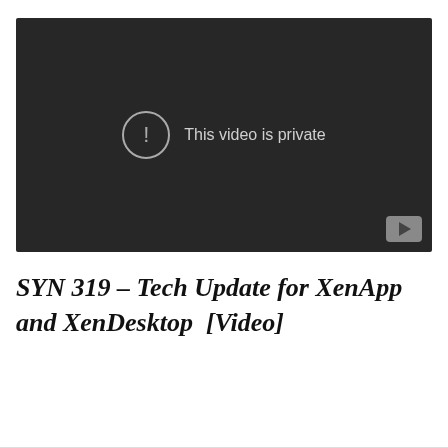[Figure (screenshot): YouTube embedded video player showing 'This video is private' error message on a dark background with exclamation circle icon and YouTube button in bottom right corner]
SYN 319 – Tech Update for XenApp and XenDesktop  [Video]
Continue reading →